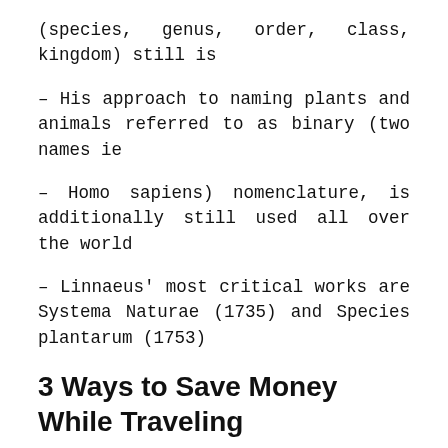(species, genus, order, class, kingdom) still is
– His approach to naming plants and animals referred to as binary (two names ie
– Homo sapiens) nomenclature, is additionally still used all over the world
– Linnaeus' most critical works are Systema Naturae (1735) and Species plantarum (1753)
3 Ways to Save Money While Traveling
If you want to travel for your vacation, it